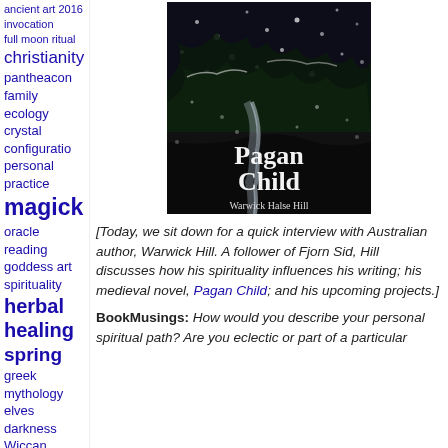ancient art 2016
invocation
full moon ritual
christianity
pantheacon
family
ecology
crystal configuration
personal practice
magick
oracle reading
goddess art
spirituality
herbal healing
spring
greek mythology
elves
darkness
Wiccan jewelry
prayer
ethics
Ceremony
witch
flowers
pagan
humor
Recipes
arts & crafts
cats
[Figure (illustration): Book cover of 'Pagan Child' by Warwick Halse Hill, showing a dark winter scene with snow and trees, with the title in white text and author name at bottom.]
[Today, we sit down for a quick interview with Australian author, Warwick Hill. A follower of Fjorn Sid, Hill discusses how his spirituality influences his writing; his medieval novel, Pagan Child; and his upcoming projects.]
BookMusings: How would you describe your personal spiritual path? Are you eclectic or part of a particular tradition?